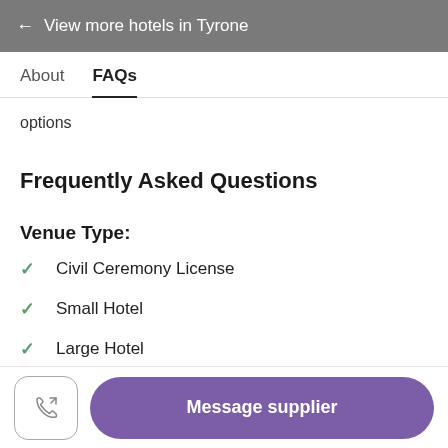← View more hotels in Tyrone
About   FAQs
options
Frequently Asked Questions
Venue Type:
Civil Ceremony License
Small Hotel
Large Hotel
Message supplier